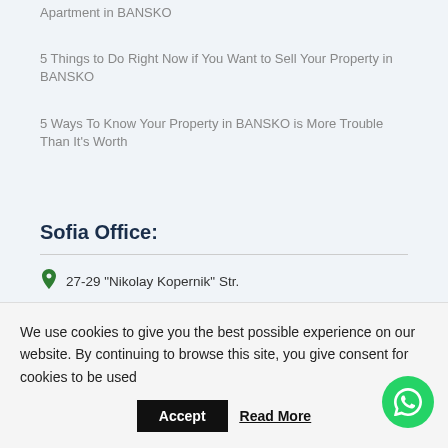Apartment in BANSKO
5 Things to Do Right Now if You Want to Sell Your Property in BANSKO
5 Ways To Know Your Property in BANSKO is More Trouble Than It's Worth
Sofia Office:
27-29 "Nikolay Kopernik" Str.
We use cookies to give you the best possible experience on our website. By continuing to browse this site, you give consent for cookies to be used
Accept
Read More